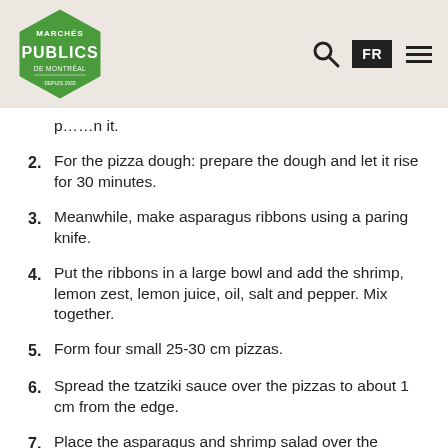Marchés Publics de Montréal
p…n it.
2. For the pizza dough: prepare the dough and let it rise for 30 minutes.
3. Meanwhile, make asparagus ribbons using a paring knife.
4. Put the ribbons in a large bowl and add the shrimp, lemon zest, lemon juice, oil, salt and pepper. Mix together.
5. Form four small 25-30 cm pizzas.
6. Spread the tzatziki sauce over the pizzas to about 1 cm from the edge.
7. Place the asparagus and shrimp salad over the pizzas.
8. Use a paring knife to shave off pieces of Gré des champs, and spread them over the top of the